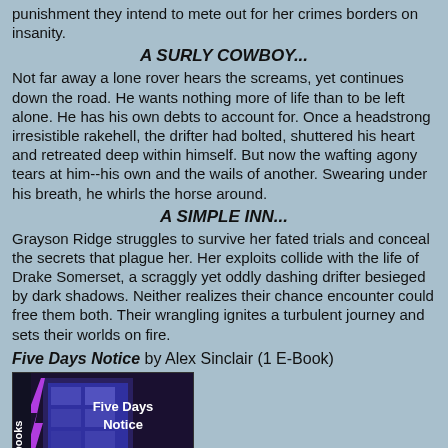punishment they intend to mete out for her crimes borders on insanity.
A SURLY COWBOY...
Not far away a lone rover hears the screams, yet continues down the road. He wants nothing more of life than to be left alone. He has his own debts to account for. Once a headstrong irresistible rakehell, the drifter had bolted, shuttered his heart and retreated deep within himself. But now the wafting agony tears at him--his own and the wails of another. Swearing under his breath, he whirls the horse around.
A SIMPLE INN...
Grayson Ridge struggles to survive her fated trials and conceal the secrets that plague her. Her exploits collide with the life of Drake Somerset, a scraggly yet oddly dashing drifter besieged by dark shadows. Neither realizes their chance encounter could free them both. Their wrangling ignites a turbulent journey and sets their worlds on fire.
Five Days Notice by Alex Sinclair (1 E-Book)
[Figure (photo): Book cover image for 'Five Days Notice' showing a dark purple/blue building background with the title text 'Five Days Notice' in white bold letters, and a vertical text 'books' on the left spine.]